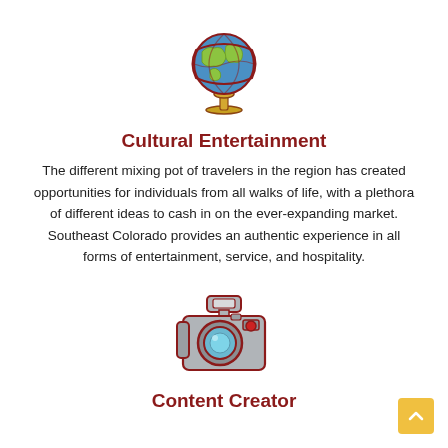[Figure (illustration): Globe icon with blue and green continents on a golden stand, outlined in dark red/brown]
Cultural Entertainment
The different mixing pot of travelers in the region has created opportunities for individuals from all walks of life, with a plethora of different ideas to cash in on the ever-expanding market. Southeast Colorado provides an authentic experience in all forms of entertainment, service, and hospitality.
[Figure (illustration): Camera icon in gray and dark red outline with a cyan lens and red dot, flash on top]
Content Creator